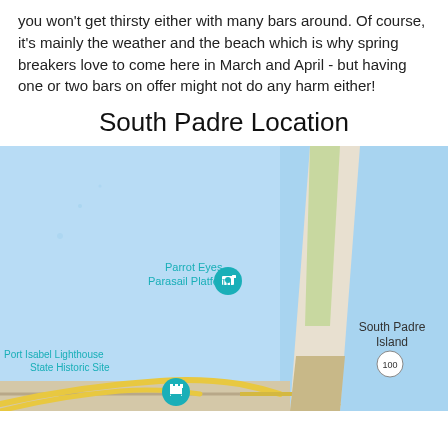you won't get thirsty either with many bars around. Of course, it's mainly the weather and the beach which is why spring breakers love to come here in March and April - but having one or two bars on offer might not do any harm either!
South Padre Location
[Figure (map): Google Maps screenshot showing South Padre Island, Texas. The map displays a narrow barrier island running north-south. Labeled locations include Parrot Eyes Parasail Platform (with a teal pin and camera icon), South Padre Island label, Port Isabel Lighthouse State Historic Site, Port Isabel with a castle/tower pin, and highway 100. The water (Laguna Madre bay) is shown in light blue on the left and the Gulf of Mexico on the right. A causeway bridge connects South Padre Island to Port Isabel at the bottom.]